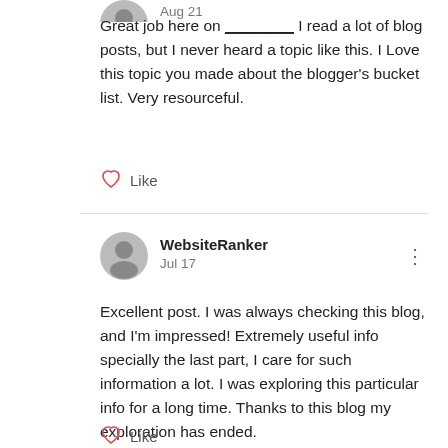Aug 21
Great job here on ________ I read a lot of blog posts, but I never heard a topic like this. I Love this topic you made about the blogger's bucket list. Very resourceful.
Like
WebsiteRanker
Jul 17
Excellent post. I was always checking this blog, and I'm impressed! Extremely useful info specially the last part, I care for such information a lot. I was exploring this particular info for a long time. Thanks to this blog my exploration has ended.
Like